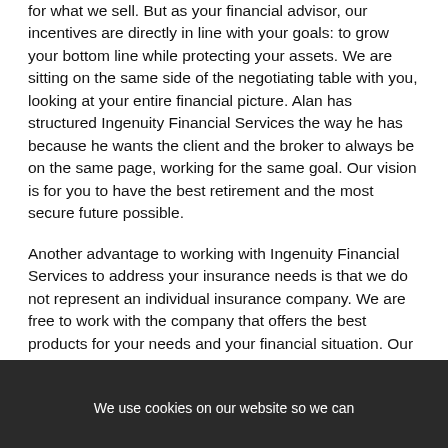for what we sell. But as your financial advisor, our incentives are directly in line with your goals: to grow your bottom line while protecting your assets. We are sitting on the same side of the negotiating table with you, looking at your entire financial picture. Alan has structured Ingenuity Financial Services the way he has because he wants the client and the broker to always be on the same page, working for the same goal. Our vision is for you to have the best retirement and the most secure future possible.
Another advantage to working with Ingenuity Financial Services to address your insurance needs is that we do not represent an individual insurance company. We are free to work with the company that offers the best products for your needs and your financial situation. Our allegiance is to you, the client, and not to the company who sells the product.
Ingenuity Financial Services understands all aspects of insurance and we can assist you with all your needs. We strive to educate our clients about the necessity for w... u...
We use cookies on our website so we can